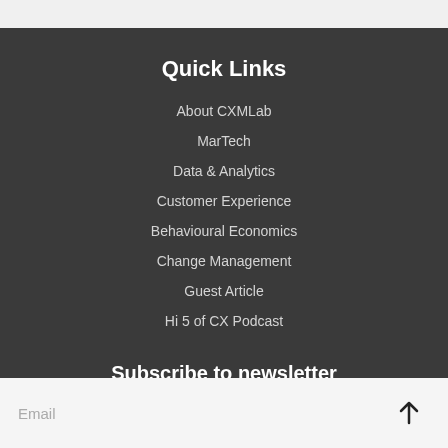Quick Links
About CXMLab
MarTech
Data & Analytics
Customer Experience
Behavioural Economics
Change Management
Guest Article
Hi 5 of CX Podcast
Subscribe to newsletter
Email